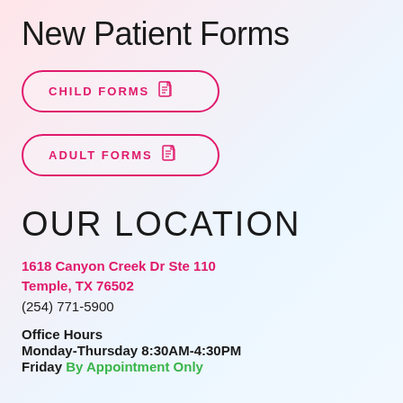New Patient Forms
CHILD FORMS
ADULT FORMS
OUR LOCATION
1618 Canyon Creek Dr Ste 110
Temple, TX 76502
(254) 771-5900
Office Hours
Monday-Thursday 8:30AM-4:30PM
Friday By Appointment Only